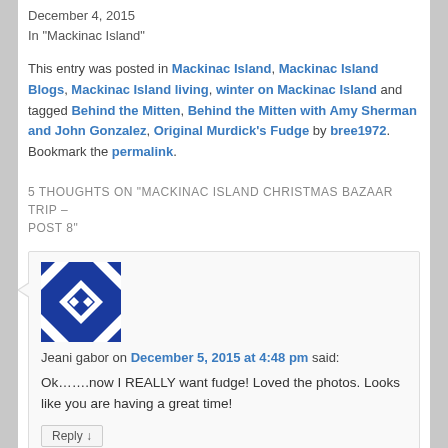December 4, 2015
In "Mackinac Island"
This entry was posted in Mackinac Island, Mackinac Island Blogs, Mackinac Island living, winter on Mackinac Island and tagged Behind the Mitten, Behind the Mitten with Amy Sherman and John Gonzalez, Original Murdick's Fudge by bree1972. Bookmark the permalink.
5 THOUGHTS ON "MACKINAC ISLAND CHRISTMAS BAZAAR TRIP – POST 8"
[Figure (illustration): Blue and white geometric quilt-pattern avatar icon for commenter Jeani gabor]
Jeani gabor on December 5, 2015 at 4:48 pm said:
Ok…….now I REALLY want fudge! Loved the photos. Looks like you are having a great time!
Reply ↓